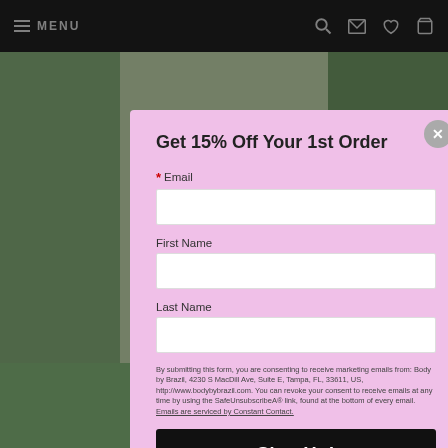MENU
Get 15% Off Your 1st Order
* Email
First Name
Last Name
By submitting this form, you are consenting to receive marketing emails from: Body by Brazil, 4230 S MacDill Ave, Suite E, Tampa, FL, 33611, US, http://www.bodybybrazil.com. You can revoke your consent to receive emails at any time by using the SafeUnsubscribeA® link, found at the bottom of every email. Emails are serviced by Constant Contact.
Sign Up!
Morena...
$149.00